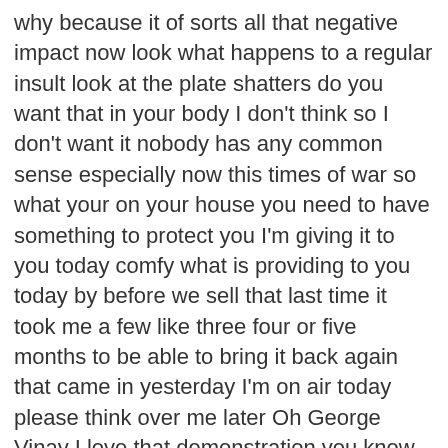why because it of sorts all that negative impact now look what happens to a regular insult look at the plate shatters do you want that in your body I don't think so I don't want it nobody has any common sense especially now this times of war so what your on your house you need to have something to protect you I'm giving it to you today comfy what is providing to you today by before we sell that last time it took me a few like three four or five months to be able to bring it back again that came in yesterday I'm on air today please think over me later Oh George Vinay I love that demonstration you know me so well because prove it to me right show me what this patented design is going to do for me it's going to absorb all the shock of your weight all the shock of your body that you put on your feet my sweet producer Nina she because you only get two feet in your life you know what you're right let's